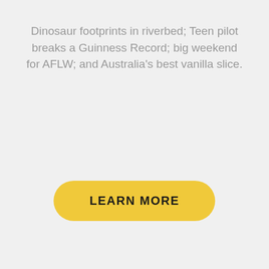Dinosaur footprints in riverbed; Teen pilot breaks a Guinness Record; big weekend for AFLW; and Australia's best vanilla slice.
LEARN MORE